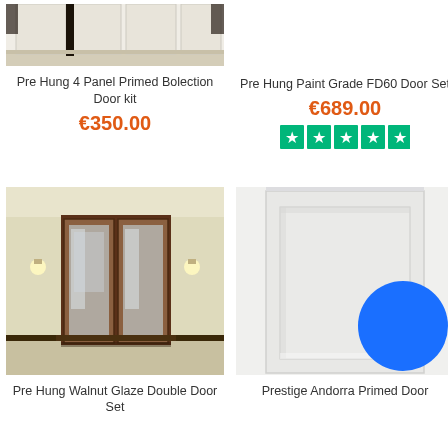[Figure (photo): Top portion of a white 4-panel primed bolection door in a room setting]
Pre Hung 4 Panel Primed Bolection Door kit
€350.00
Pre Hung Paint Grade FD60 Door Set
€689.00
[Figure (infographic): Five green Trustpilot stars rating]
[Figure (photo): Pre Hung Walnut Glaze Double Door Set — photo of dark wood framed glass double doors in a room]
Pre Hung Walnut Glaze Double Door Set
[Figure (photo): Prestige Andorra Primed Door — white single panel door with blue circle overlay]
Prestige Andorra Primed Door